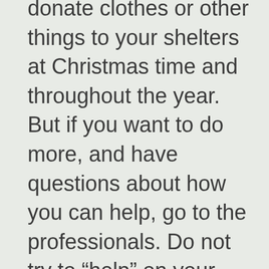donate clothes or other things to your shelters at Christmas time and throughout the year. But if you want to do more, and have questions about how you can help, go to the professionals. Do not try to “help” on your own as this dismisses the reputable agencies already doing good work. They know what they are doing, and they can always offer real and truly helpful ways in which you can still give back.

What I would like most of all is for